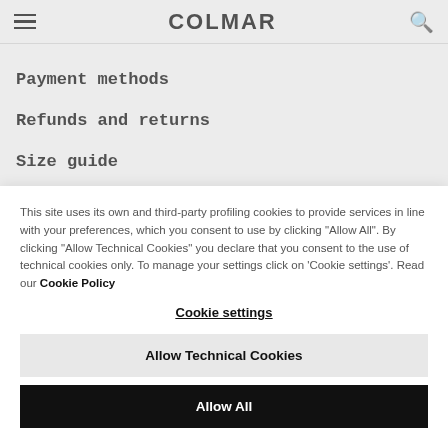COLMAR
Payment methods
Refunds and returns
Size guide
This site uses its own and third-party profiling cookies to provide services in line with your preferences, which you consent to use by clicking "Allow All". By clicking "Allow Technical Cookies" you declare that you consent to the use of technical cookies only. To manage your settings click on 'Cookie settings'. Read our Cookie Policy
Cookie settings
Allow Technical Cookies
Allow All